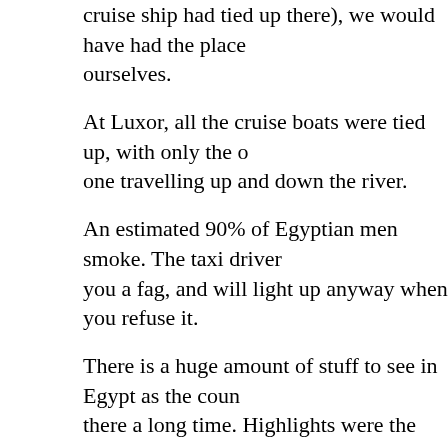cruise ship had tied up there), we would have had the place ourselves.
At Luxor, all the cruise boats were tied up, with only the odd one travelling up and down the river.
An estimated 90% of Egyptian men smoke. The taxi driver offers you a fag, and will light up anyway when you refuse it.
There is a huge amount of stuff to see in Egypt as the country has been there a long time. Highlights were the pyramids, Abu Simbel, and the people. The people are friendly, especially at this time with fewer tourists around.
Jordan - A very expensive country, made artificially so by the high value of the dinar. For example, the entrance fee to Petra making it one of the most expensive sites in the world.
There is less to see in Jordan, but what they do have is spectacular. Petra is one of the region's highlights as is Wadi Rum.
Syria - A very inexpensive country, especially for food and really good chicken schwarma (meat filled pita bread) was